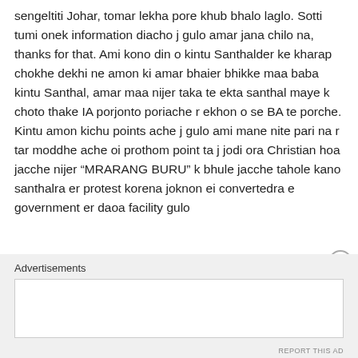sengeltiti Johar, tomar lekha pore khub bhalo laglo. Sotti tumi onek information diacho j gulo amar jana chilo na, thanks for that. Ami kono din o kintu Santhalder ke kharap chokhe dekhi ne amon ki amar bhaier bhikke maa baba kintu Santhal, amar maa nijer taka te ekta santhal maye k choto thake IA porjonto poriache r ekhon o se BA te porche. Kintu amon kichu points ache j gulo ami mane nite pari na r tar moddhe ache oi prothom point ta j jodi ora Christian hoa jacche nijer “MRARANG BURU” k bhule jacche tahole kano santhalra er protest korena joknon ei convertedra e government er daoa facility gulo
Advertisements